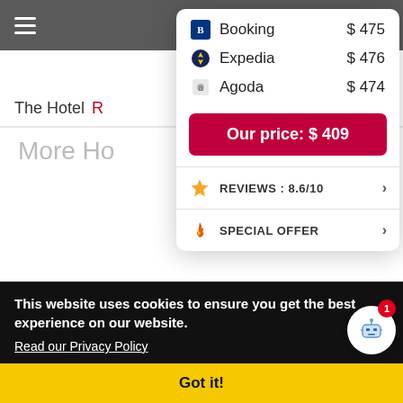[Figure (screenshot): Navigation bar with hamburger menu icon on dark gray background]
The Hotel
More Ho
| Provider | Price |
| --- | --- |
| Booking | $475 |
| Expedia | $476 |
| Agoda | $474 |
Our price: $ 409
REVIEWS: 8.6/10
SPECIAL OFFER
RateParity
This website uses cookies to ensure you get the best experience on our website.
Read our Privacy Policy
Got it!